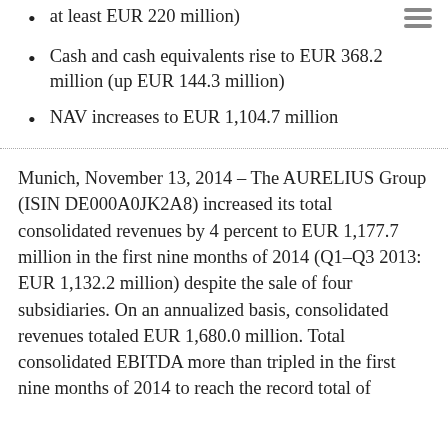at least EUR 220 million)
Cash and cash equivalents rise to EUR 368.2 million (up EUR 144.3 million)
NAV increases to EUR 1,104.7 million
Munich, November 13, 2014 – The AURELIUS Group (ISIN DE000A0JK2A8) increased its total consolidated revenues by 4 percent to EUR 1,177.7 million in the first nine months of 2014 (Q1–Q3 2013: EUR 1,132.2 million) despite the sale of four subsidiaries. On an annualized basis, consolidated revenues totaled EUR 1,680.0 million. Total consolidated EBITDA more than tripled in the first nine months of 2014 to reach the record total of